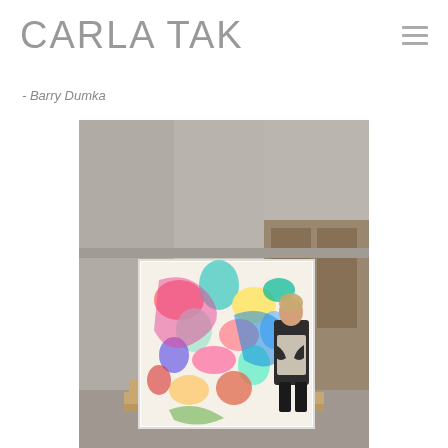CARLA TAK
- Barry Dumka
[Figure (photo): Artist Carla Tak standing next to a large colorful abstract painting on wooden pallets in an industrial or warehouse-like space with concrete walls and a wooden door. The painting is a large square canvas filled with vivid, energetic multi-colored abstract marks and shapes.]